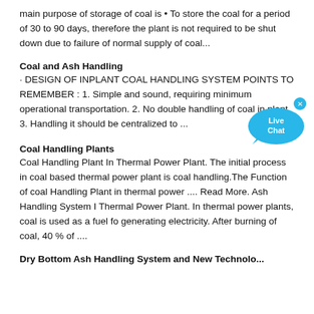main purpose of storage of coal is • To store the coal for a period of 30 to 90 days, therefore the plant is not required to be shut down due to failure of normal supply of coal...
Coal and Ash Handling
· DESIGN OF INPLANT COAL HANDLING SYSTEM POINTS TO REMEMBER : 1. Simple and sound, requiring minimum operational transportation. 2. No double handling of coal in plant. 3. Handling should be centralized to ...
Coal Handling Plants
Coal Handling Plant In Thermal Power Plant. The initial process in coal based thermal power plant is coal handling.The Function of coal Handling Plant in thermal power .... Read More. Ash Handling System I Thermal Power Plant. In thermal power plants, coal is used as a fuel fo generating electricity. After burning of coal, 40 % of ....
Dry Bottom Ash Handling System and New Technology...